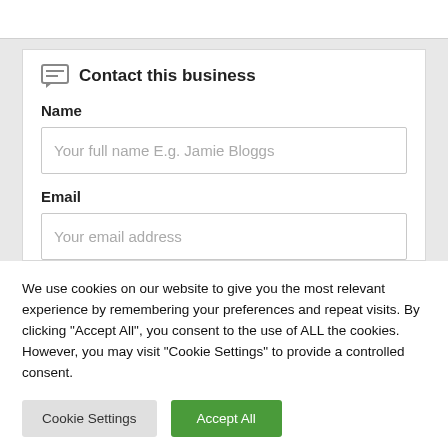Contact this business
Name
Your full name E.g. Jamie Bloggs
Email
Your email address
We use cookies on our website to give you the most relevant experience by remembering your preferences and repeat visits. By clicking "Accept All", you consent to the use of ALL the cookies. However, you may visit "Cookie Settings" to provide a controlled consent.
Cookie Settings
Accept All